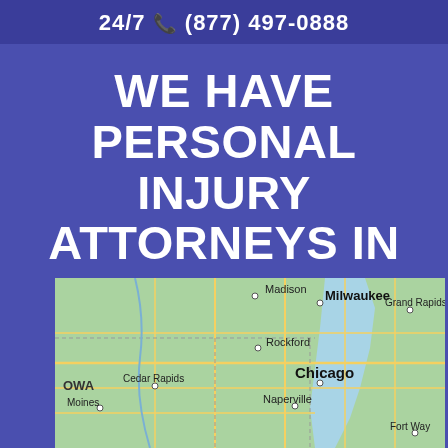24/7 📞 (877) 497-0888
WE HAVE PERSONAL INJURY ATTORNEYS IN ILLINOIS
[Figure (map): Google Maps view showing the Midwest/Great Lakes region including Illinois, with cities labeled: Madison, Milwaukee, Grand Rapids, Rockford, Chicago, Cedar Rapids, Iowa, Moines, Naperville, Fort Way]